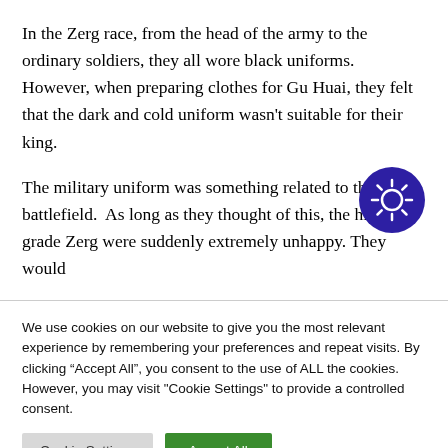In the Zerg race, from the head of the army to the ordinary soldiers, they all wore black uniforms. However, when preparing clothes for Gu Huai, they felt that the dark and cold uniform wasn't suitable for their king.
The military uniform was something related to the battlefield.  As long as they thought of this, the high-grade Zerg were suddenly extremely unhappy. They would
[Figure (logo): Dark purple/indigo circular icon with a sun-like or gear/eye symbol in the center, white rays emanating from a central circle]
We use cookies on our website to give you the most relevant experience by remembering your preferences and repeat visits. By clicking "Accept All", you consent to the use of ALL the cookies. However, you may visit "Cookie Settings" to provide a controlled consent.